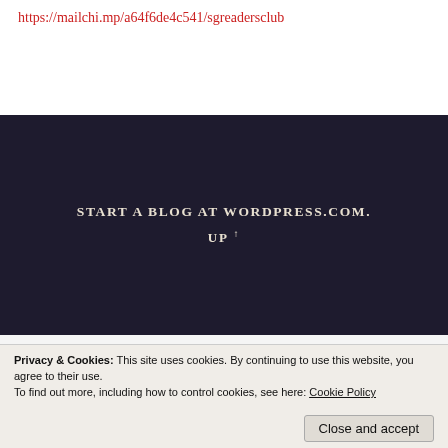https://mailchi.mp/a64f6de4c541/sgreadersclub
START A BLOG AT WORDPRESS.COM.
UP ↑
Book 2 – Boomerang
Book 3 – Ladybird
Book 4 – Occam's Razor
Book 5 – Harlequin
Book 6 – Selene
Book 7 – Horsemen
Book 8 – Unworthy
Privacy & Cookies: This site uses cookies. By continuing to use this website, you agree to their use. To find out more, including how to control cookies, see here: Cookie Policy
Close and accept